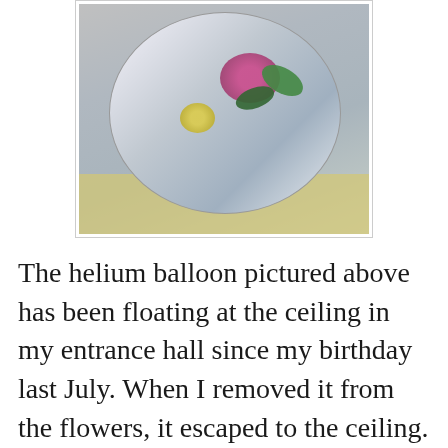[Figure (photo): A helium balloon with a floral design (pink, yellow flowers and green leaves) on a silver/metallic surface, partially visible at the top of the page, with a yellow background behind it.]
The helium balloon pictured above has been floating at the ceiling in my entrance hall since my birthday last July. When I removed it from the flowers, it escaped to the ceiling. Out of the goodness of my heart, or perhaps a few of my lazy bones, I let it stay there.
The thing waited two months and then made its way to our bedroom.  How did the